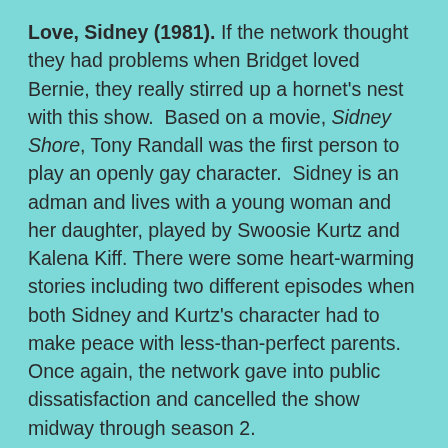Love, Sidney (1981). If the network thought they had problems when Bridget loved Bernie, they really stirred up a hornet's nest with this show.  Based on a movie, Sidney Shore, Tony Randall was the first person to play an openly gay character.  Sidney is an adman and lives with a young woman and her daughter, played by Swoosie Kurtz and Kalena Kiff. There were some heart-warming stories including two different episodes when both Sidney and Kurtz's character had to make peace with less-than-perfect parents. Once again, the network gave into public dissatisfaction and cancelled the show midway through season 2.
Joanie Loves Chachi (1981). This show was a mid-season replacement.  Chachi (Scott Baio) left Milwaukee and Happy Days and moved with his parents (Ellen Travolta and Al Molinaro who had owned Arnolds's malt